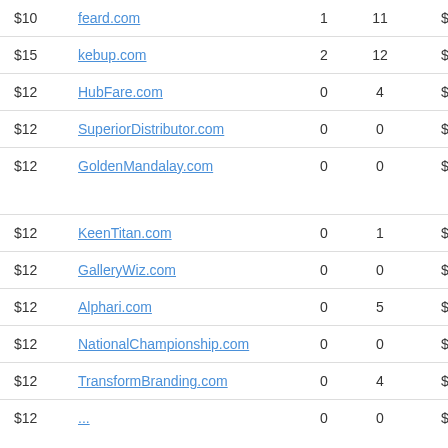| Price | Domain | Col1 | Col2 | Value |
| --- | --- | --- | --- | --- |
| $10 | feard.com | 1 | 11 | $1570 |
| $15 | kebup.com | 2 | 12 | $1607 |
| $12 | HubFare.com | 0 | 4 | $1433 |
| $12 | SuperiorDistributor.com | 0 | 0 | $1512 |
| $12 | GoldenMandalay.com | 0 | 0 | $1275 |
| $12 | KeenTitan.com | 0 | 1 | $1292 |
| $12 | GalleryWiz.com | 0 | 0 | $1211 |
| $12 | Alphari.com | 0 | 5 | $1484 |
| $12 | NationalChampionship.com | 0 | 0 | $1663 |
| $12 | TransformBranding.com | 0 | 4 | $1237 |
| $12 | ... | 0 | 0 | $1321 |